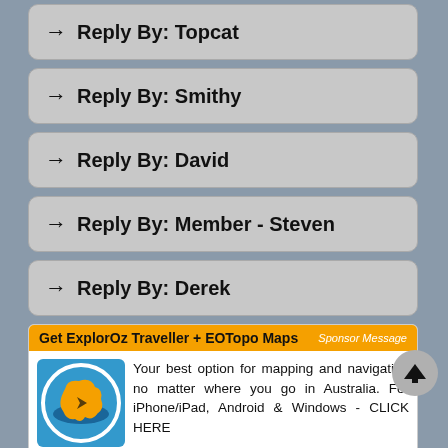→ Reply By: Topcat
→ Reply By: Smithy
→ Reply By: David
→ Reply By: Member - Steven
→ Reply By: Derek
[Figure (infographic): Get ExplorOz Traveller + EOTopo Maps sponsor box with orange Australia map logo. Text: Your best option for mapping and navigation no matter where you go in Australia. For iPhone/iPad, Android & Windows - CLICK HERE]
Back   Moderator